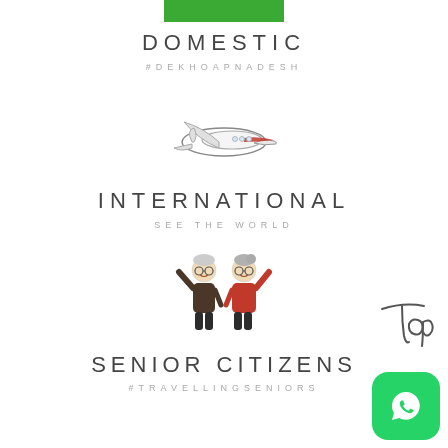[Figure (other): Green rectangle bar at top center]
DOMESTIC
#DEKHOAPNADESH
[Figure (illustration): Cartoon airplane illustration with red stripe]
INTERNATIONAL
SEE THE WORLD
[Figure (illustration): Cartoon illustration of elderly couple (senior citizens) with arms raised]
[Figure (other): Cursive script watermark reading 'Top']
SENIOR CITIZENS
#TRAVELLINGSENIORS
[Figure (other): WhatsApp green icon button in bottom right corner]